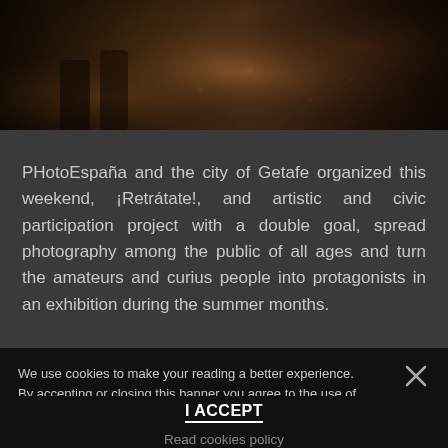[Figure (photo): Dark photograph showing lower body of a person, dark floor visible, warm brown tones]
PHotoEspaña and the city of Getafe organized this weekend, ¡Retrátate!, and artistic and civic participation project with a double goal, spread photography among the public of all ages and turn the amateurs and curius people into protagonists in an exhibition during the summer months.
We use cookies to make your reading a better experience. By accepting or closing this banner you agree to the use of cookies
I ACCEPT
Read cookies policy